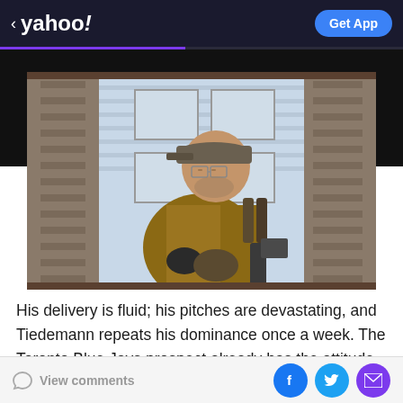< yahoo! | Get App
[Figure (photo): A middle-aged man wearing a baseball cap and brown work jacket, holding tools, viewed through a window frame with a house exterior in the background.]
His delivery is fluid; his pitches are devastating, and Tiedemann repeats his dominance once a week. The Toronto Blue Jays prospect already has the attitude of a
View comments | Facebook | Twitter | Email